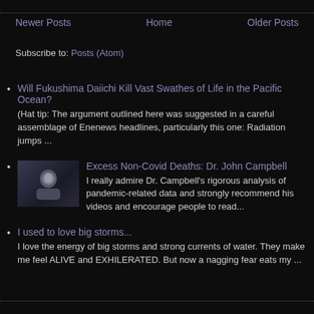Newer Posts | Home | Older Posts
Subscribe to: Posts (Atom)
Will Fukushima Daiichi Kill Vast Swathes of Life in the Pacific Ocean?
(Hat tip: The argument outlined here was suggested in a careful assemblage of Enenews headlines, particularly this one: Radiation jumps ...
Excess Non-Covid Deaths: Dr. John Campbell
I really admire Dr. Campbell's rigorous analysis of pandemic-related data and strongly recommend his videos and encourage people to read...
I used to love big storms...
I love the energy of big storms and strong currents of water. They make me feel ALIVE and EXHILERATED. But now a nagging fear eats my ...